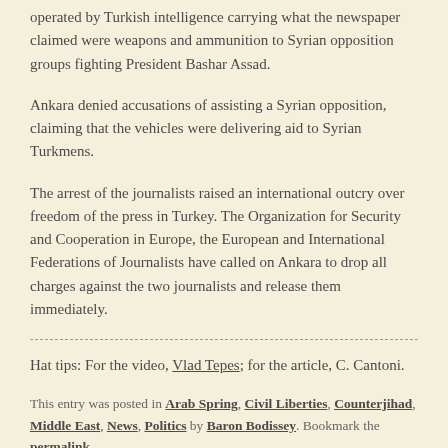operated by Turkish intelligence carrying what the newspaper claimed were weapons and ammunition to Syrian opposition groups fighting President Bashar Assad.
Ankara denied accusations of assisting a Syrian opposition, claiming that the vehicles were delivering aid to Syrian Turkmens.
The arrest of the journalists raised an international outcry over freedom of the press in Turkey. The Organization for Security and Cooperation in Europe, the European and International Federations of Journalists have called on Ankara to drop all charges against the two journalists and release them immediately.
Hat tips: For the video, Vlad Tepes; for the article, C. Cantoni.
This entry was posted in Arab Spring, Civil Liberties, Counterjihad, Middle East, News, Politics by Baron Bodissey. Bookmark the permalink.
13 THOUGHTS ON "CUMHURIYET FEELS THE SULTAN'S ANGER"